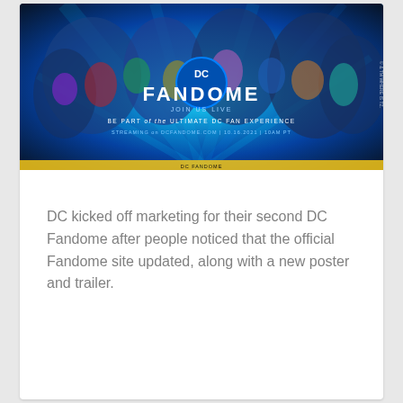[Figure (photo): DC Fandome promotional poster featuring numerous DC Comics superheroes and villains against a vivid blue and purple background. Text reads 'DC FANDOME', 'JOIN US LIVE', 'BE PART of the ULTIMATE DC FAN EXPERIENCE', 'STREAMING on DCFANDOME.COM | 10.16.2021 | 10AM PT']
DC kicked off marketing for their second DC Fandome after people noticed that the official Fandome site updated, along with a new poster and trailer.